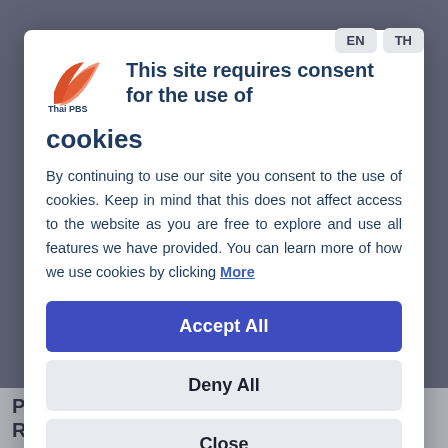[Figure (screenshot): Cookie consent modal dialog on Thai PBS website. Contains language selector buttons (EN, TH), Thai PBS logo, title text, body text about cookie policy, and three action buttons: Accept All, Deny All, Close.]
This site requires consent for the use of cookies
By continuing to use our site you consent to the use of cookies. Keep in mind that this does not affect access to the website as you are free to explore and use all features we have provided. You can learn more of how we use cookies by clicking More
Accept All
Deny All
Close
Powerful explosions heard in Kyiv after Russian